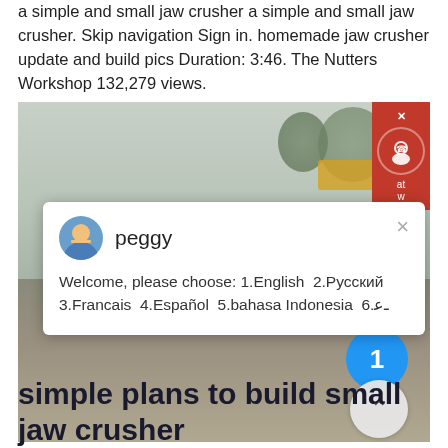a simple and small jaw crusher a simple and small jaw crusher. Skip navigation Sign in. homemade jaw crusher update and build pics Duration: 3:46. The Nutters Workshop 132,279 views.
[Figure (photo): Outdoor scene showing a large industrial machine (possibly a crusher or paving machine) working on a dirt/gravel area. There are gravel mounds and trees in the background. A live chat popup from 'peggy' is overlaid on the image, with a red support icon in the top right corner, a blue notification circle with '1', and a back-to-top arrow button. The chat popup reads: Welcome, please choose: 1.English 2.Русский 3.Francais 4.Español 5.bahasa Indonesia 6....]
simple plans to build small jaw crusher